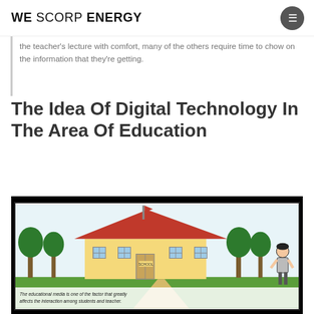WE SCORP ENERGY
the teacher's lecture with comfort, many of the others require time to chow on the information that they're getting.
The Idea Of Digital Technology In The Area Of Education
[Figure (illustration): Cartoon illustration of a school building with trees, students, and a caption reading 'The educational media is one of the factor that greatly affects the interaction among students and teacher.']